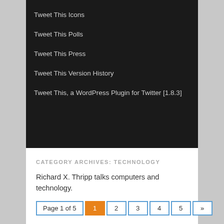Tweet This Icons
Tweet This Polls
Tweet This Press
Tweet This Version History
Tweet This, a WordPress Plugin for Twitter [1.8.3]
CATEGORY ARCHIVES: TECHNOLOGY
Richard X. Thripp talks computers and technology.
Page 1 of 5  1  2  3  4  5  »
Sentience vs. Sovereignty
Posted on 2011-04-10
Sentience and sovereignty are two distinct qualities, and it's possible to have both, neither, or one without the other.